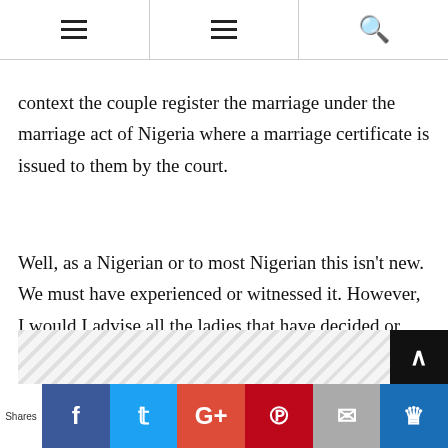Navigation bar with menu and search icons
context the couple register the marriage under the marriage act of Nigeria where a marriage certificate is issued to them by the court.
Well, as a Nigerian or to most Nigerian this isn't new. We must have experienced or witnessed it. However, I would I advise all the ladies that have decided or that have plans of going outside Nigeria to marry to give the man heads up else everything will come as a shock to him.
Shares | Facebook | Twitter | Google+ | Pinterest | Mail | Crown